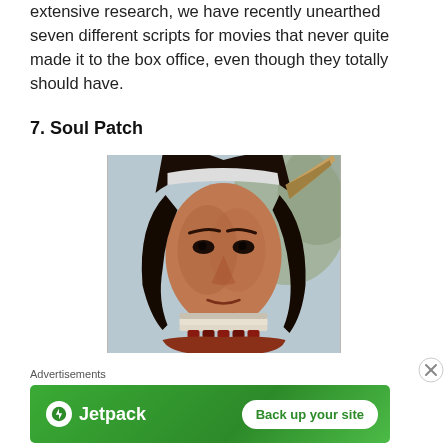extensive research, we have recently unearthed seven different scripts for movies that never quite made it to the box office, even though they totally should have.
7. Soul Patch
[Figure (photo): Close-up portrait photo of a Native American man wearing traditional regalia including a beaded necklace/choker and feathered headdress, with a serious expression, outdoors with blurred background.]
Advertisements
[Figure (logo): Jetpack advertisement banner with green background showing Jetpack logo on left and a 'Back up your site' button on right.]